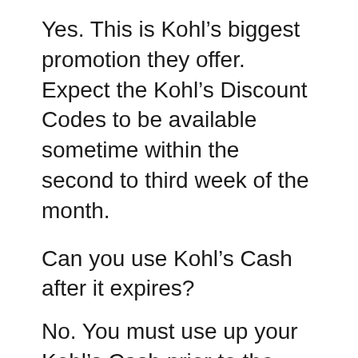Yes. This is Kohl's biggest promotion they offer. Expect the Kohl's Discount Codes to be available sometime within the second to third week of the month.
Can you use Kohl's Cash after it expires?
No. You must use up your Kohl's Cash prior to the expiration date listed at the bottom.
Does Kohl's have any coupons?
Yes! Kohl's offers a various amount of coupons throughout the month. Some